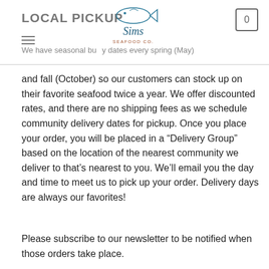LOCAL PICKUP | Sims Seafood Co. | Cart: 0
We have seasonal buy dates every spring (May) and fall (October) so our customers can stock up on their favorite seafood twice a year. We offer discounted rates, and there are no shipping fees as we schedule community delivery dates for pickup. Once you place your order, you will be placed in a “Delivery Group” based on the location of the nearest community we deliver to that’s nearest to you. We’ll email you the day and time to meet us to pick up your order. Delivery days are always our favorites!
Please subscribe to our newsletter to be notified when those orders take place.